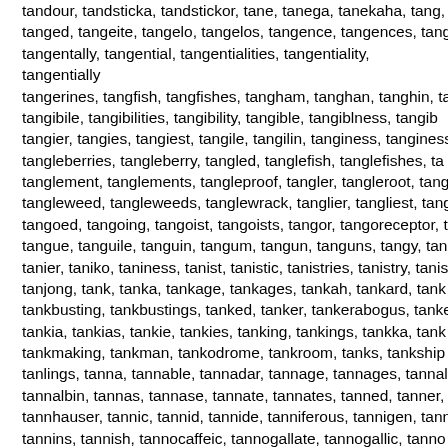tandour, tandsticka, tandstickor, tane, tanega, tanekaha, tang, tanged, tangeite, tangelo, tangelos, tangence, tangences, tang tangentally, tangential, tangentialities, tangentiality, tangentially tangerines, tangfish, tangfishes, tangham, tanghan, tanghin, ta tangibile, tangibilities, tangibility, tangible, tangiblness, tangib tangier, tangies, tangiest, tangile, tangilin, tanginess, tanginess tangleberries, tangleberry, tangled, tanglefish, tanglefishes, ta tanglement, tanglements, tangleproof, tangler, tangleroot, tang tangleweed, tangleweeds, tanglewrack, tanglier, tangliest, tang tangoed, tangoing, tangoist, tangoists, tangor, tangoreceptor, t tangue, tanguile, tanguin, tangum, tangun, tanguns, tangy, tan tanier, taniko, taniness, tanist, tanistic, tanistries, tanistry, tanis tanjong, tank, tanka, tankage, tankages, tankah, tankard, tank tankbusting, tankbustings, tanked, tanker, tankerabogus, tanke tankia, tankias, tankie, tankies, tanking, tankings, tankka, tank tankmaking, tankman, tankodrome, tankroom, tanks, tankship tanlings, tanna, tannable, tannadar, tannage, tannages, tannak tannalbin, tannas, tannase, tannate, tannates, tanned, tanner, tannhauser, tannic, tannid, tannide, tanniferous, tannigen, tann tannins, tannish, tannocaffeic, tannogallate, tannogallic, tanno tannoy, tannoyed, tannoying, tannoys, tanny, tannyl, tanoa, tar tanquen, tanrec, tanrecs, tans, tansel, tansey, tansies, tanstuff tantalates, tantalic, tantaliferous, tantalifluoride, tantalisation, t tantalisers, tantalises, tantalising, tantalisingly, tantalisings, tar tantalization, tantalizations, tantalize, tantalized, tantalizer, tan